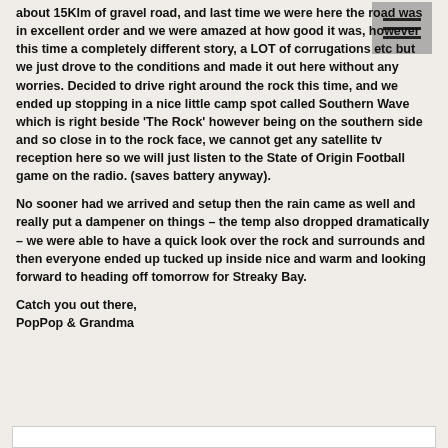about 15Klm of gravel road, and last time we were here the road was in excellent order and we were amazed at how good it was, however this time a completely different story, a LOT of corrugations etc but we just drove to the conditions and made it out here without any worries. Decided to drive right around the rock this time, and we ended up stopping in a nice little camp spot called Southern Wave which is right beside 'The Rock' however being on the southern side and so close in to the rock face, we cannot get any satellite tv reception here so we will just listen to the State of Origin Football game on the radio. (saves battery anyway).
No sooner had we arrived and setup then the rain came as well and really put a dampener on things – the temp also dropped dramatically – we were able to have a quick look over the rock and surrounds and then everyone ended up tucked up inside nice and warm and looking forward to heading off tomorrow for Streaky Bay.
Catch you out there,
PopPop & Grandma